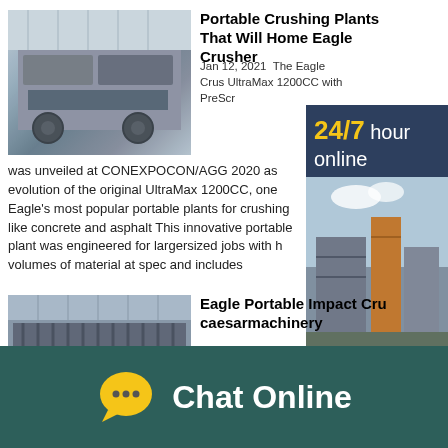[Figure (photo): Industrial portable crushing plant machinery in a warehouse/factory setting]
Portable Crushing Plants That Will Home Eagle Crusher
Jan 12, 2021  The Eagle Crusher UltraMax 1200CC with PreScr was unveiled at CONEXPOCON/AGG 2020 as evolution of the original UltraMax 1200CC, one Eagle's most popular portable plants for crushing like concrete and asphalt This innovative portable plant was engineered for largersized jobs with high volumes of material at spec and includes
[Figure (photo): Industrial machinery interior of a crushing plant facility]
Eagle Portable Impact Crusher - caesarmachinery
eagle cc portable impact crusher Eagle 1000 15cc Rock Crusher For Sale Giltz is
[Figure (infographic): Advertisement banner: 24/7 hour online with Get Price and Quoting Online buttons, showing crusher machinery photo]
Chat Online